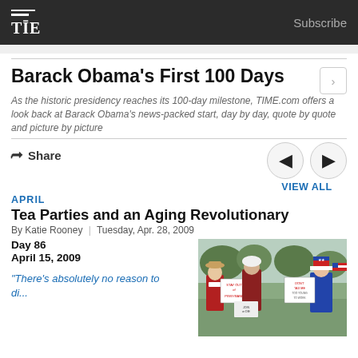TIME | Subscribe
Barack Obama's First 100 Days
As the historic presidency reaches its 100-day milestone, TIME.com offers a look back at Barack Obama's news-packed start, day by day, quote by quote and picture by picture
Share
APRIL
Tea Parties and an Aging Revolutionary
By Katie Rooney | Tuesday, Apr. 28, 2009
Day 86
April 15, 2009
"There's absolutely no reason to
[Figure (photo): Protesters at a Tea Party rally holding signs including 'Stay Out of Piggybank', 'Don't Tax Me', 'Join or Die']